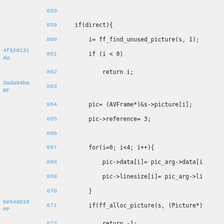858   (empty line)
859       if(direct){
860           i= ff_find_unused_picture(s, 1);
4f820131 AU  861       if (i < 0)
862               return i;
3ada94ba BF  863   (empty)
864           pic= (AVFrame*)&s->picture[i];
865           pic->reference= 3;
866   (empty)
867           for(i=0; i<4; i++){
868               pic->data[i]= pic_arg->data[i
869               pic->linesize[i]= pic_arg->li
870           }
be548816 PP  871       if(ff_alloc_picture(s, (Picture*)
872               return -1;
873       }